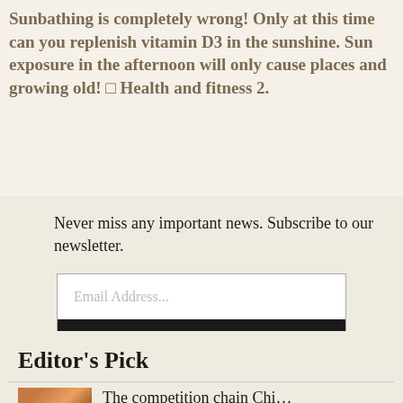Sunbathing is completely wrong! Only at this time can you replenish vitamin D3 in the sunshine. Sun exposure in the afternoon will only cause places and growing old! □ Health and fitness 2.
Never miss any important news. Subscribe to our newsletter.
Email Address...
Subscribe Now
Editor's Pick
The competition chain Chi…